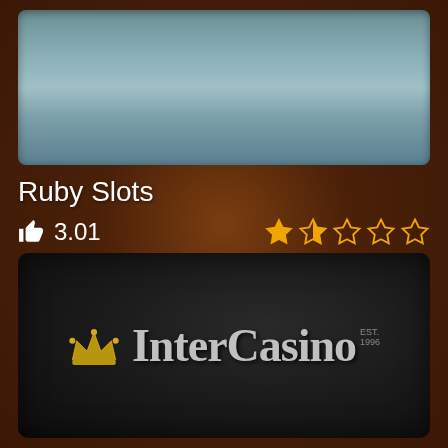[Figure (screenshot): Top banner area with teal/slate gradient background]
Ruby Slots
3.01 (thumbs up icon, 2 out of 5 stars rating)
[Figure (logo): InterCasino logo with gold crown and silver text on dark background, EST. 1996]